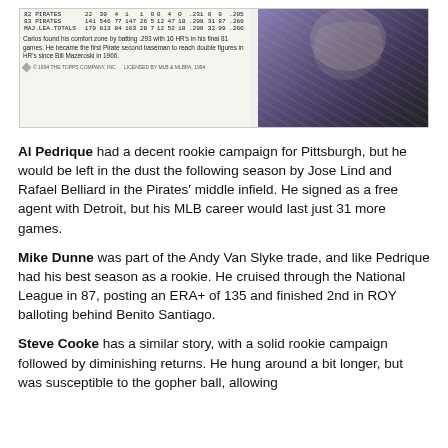[Figure (photo): Baseball card showing a table of statistics (82 Pirates, 83 Pirates, Maj. Lea. Totals rows) and a player photo on the right, with a note about Carlos and copyright line for 1994 Topps Company Inc., licensed by MLB & MLBPA, 1994.]
Al Pedrique had a decent rookie campaign for Pittsburgh, but he would be left in the dust the following season by Jose Lind and Rafael Belliard in the Pirates' middle infield. He signed as a free agent with Detroit, but his MLB career would last just 31 more games.
Mike Dunne was part of the Andy Van Slyke trade, and like Pedrique had his best season as a rookie. He cruised through the National League in 87, posting an ERA+ of 135 and finished 2nd in ROY balloting behind Benito Santiago.
Steve Cooke has a similar story, with a solid rookie campaign followed by diminishing returns. He hung around a bit longer, but was susceptible to the gopher ball, allowing